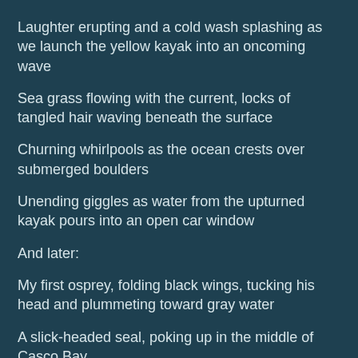Laughter erupting and a cold wash splashing as we launch the yellow kayak into an oncoming wave
Sea grass flowing with the current, locks of tangled hair waving beneath the surface
Churning whirlpools as the ocean crests over submerged boulders
Unending giggles as water from the upturned kayak pours into an open car window
And later:
My first osprey, folding black wings, tucking his head and plummeting toward gray water
A slick-headed seal, poking up in the middle of Casco Bay
Two white Adirondack chairs overlooking tumbling shale on a rise at Great Diamond Island